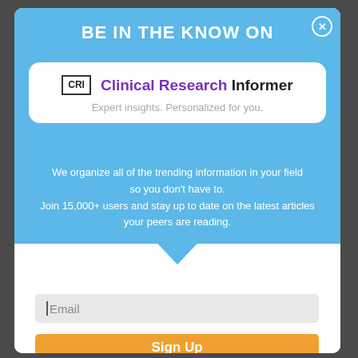BE IN THE KNOW ON
[Figure (logo): Clinical Research Informer logo with CRI box icon and tagline 'Expert insights. Personalized for you.']
We organize all of the trending information in your field so you don't have to. Join 15,000+ users and stay up to date on the latest articles your peers are reading.
Email
Sign Up